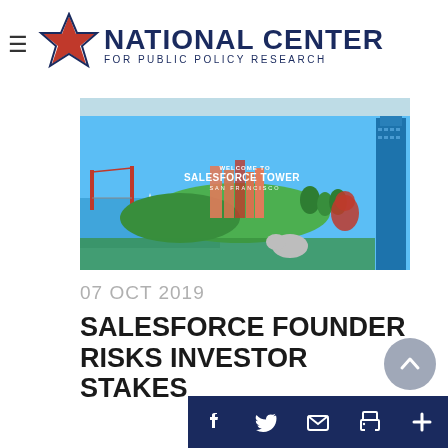National Center for Public Policy Research
[Figure (photo): Interior photo of Salesforce Tower San Francisco lobby mural showing San Francisco skyline, Golden Gate Bridge, cartoon characters and city scene with 'Welcome to Salesforce Tower San Francisco' text]
07 OCT 2019
SALESFORCE FOUNDER RISKS INVESTOR STAKES